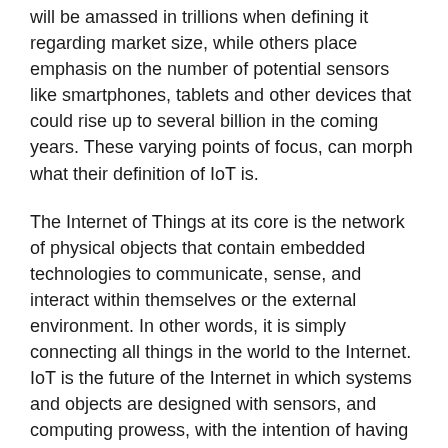will be amassed in trillions when defining it regarding market size, while others place emphasis on the number of potential sensors like smartphones, tablets and other devices that could rise up to several billion in the coming years. These varying points of focus, can morph what their definition of IoT is.
The Internet of Things at its core is the network of physical objects that contain embedded technologies to communicate, sense, and interact within themselves or the external environment. In other words, it is simply connecting all things in the world to the Internet. IoT is the future of the Internet in which systems and objects are designed with sensors, and computing prowess, with the intention of having these objects communicate effortlessly with each other. Although the initial concept of IoT was to place emphasis on communications involving Machine to Machine, the bigger picture is to place emphasis on communications involving people directly or indirectly.
With each passing day, there is an increase in networking capabilities, objects, machines, and devices in the office and